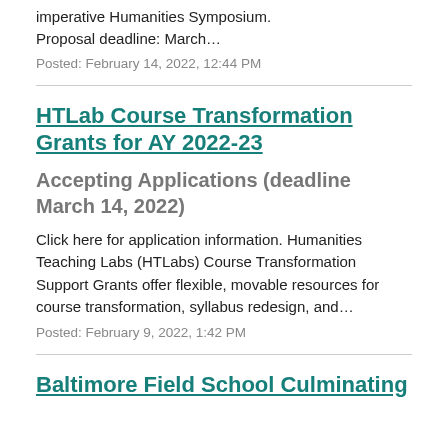imperative Humanities Symposium. Proposal deadline: March…
Posted: February 14, 2022, 12:44 PM
HTLab Course Transformation Grants for AY 2022-23
Accepting Applications (deadline March 14, 2022)
Click here for application information. Humanities Teaching Labs (HTLabs) Course Transformation Support Grants offer flexible, movable resources for course transformation, syllabus redesign, and…
Posted: February 9, 2022, 1:42 PM
Baltimore Field School Culminating